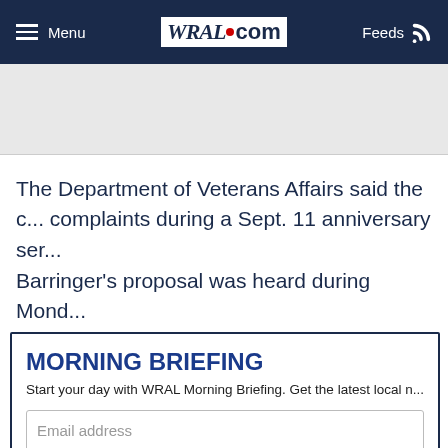Menu | WRAL.com | Feeds
The Department of Veterans Affairs said the c... complaints during a Sept. 11 anniversary ser...
Barringer's proposal was heard during Mond...
MORNING BRIEFING
Start your day with WRAL Morning Briefing. Get the latest local n...
Email address